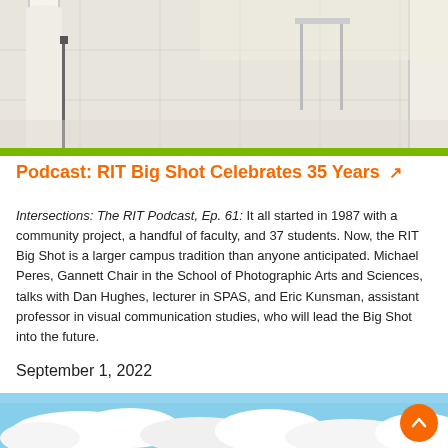[Figure (photo): Interior room with white tile floor, white cylindrical columns, and natural light from windows — top portion of image visible]
Podcast: RIT Big Shot Celebrates 35 Years
Intersections: The RIT Podcast, Ep. 61: It all started in 1987 with a community project, a handful of faculty, and 37 students. Now, the RIT Big Shot is a larger campus tradition than anyone anticipated. Michael Peres, Gannett Chair in the School of Photographic Arts and Sciences, talks with Dan Hughes, lecturer in SPAS, and Eric Kunsman, assistant professor in visual communication studies, who will lead the Big Shot into the future.
September 1, 2022
[Figure (photo): Blue sky with white clouds — bottom portion of page]